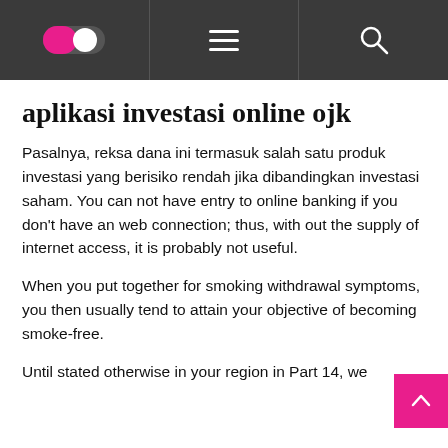aplikasi investasi online ojk — navigation header with toggle, hamburger menu, and search icons
aplikasi investasi online ojk
Pasalnya, reksa dana ini termasuk salah satu produk investasi yang berisiko rendah jika dibandingkan investasi saham. You can not have entry to online banking if you don't have an web connection; thus, with out the supply of internet access, it is probably not useful.
When you put together for smoking withdrawal symptoms, you then usually tend to attain your objective of becoming smoke-free.
Until stated otherwise in your region in Part 14, we